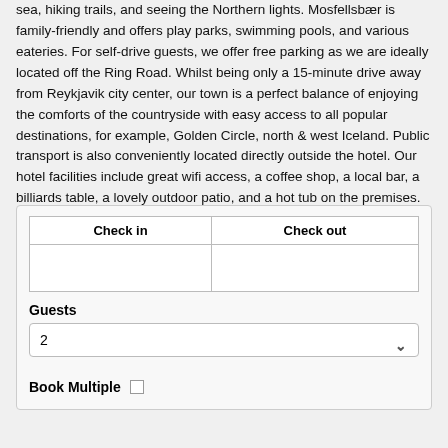sea, hiking trails, and seeing the Northern lights. Mosfellsbær is family-friendly and offers play parks, swimming pools, and various eateries. For self-drive guests, we offer free parking as we are ideally located off the Ring Road. Whilst being only a 15-minute drive away from Reykjavik city center, our town is a perfect balance of enjoying the comforts of the countryside with easy access to all popular destinations, for example, Golden Circle, north & west Iceland. Public transport is also conveniently located directly outside the hotel. Our hotel facilities include great wifi access, a coffee shop, a local bar, a billiards table, a lovely outdoor patio, and a hot tub on the premises. Hotel Laxnes staff are here to help make your Iceland trip a truly wonderful experience.
| Check in | Check out |
| --- | --- |
|  |  |